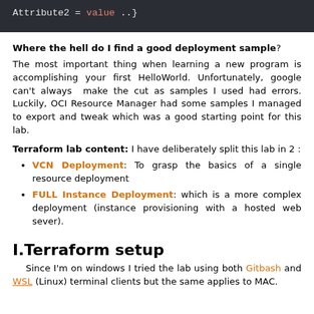[Figure (screenshot): Dark code block showing: Attribute2 = value ..}]
Where the hell do I find a good deployment sample?
The most important thing when learning a new program is accomplishing your first HelloWorld. Unfortunately, google can't always make the cut as samples I used had errors. Luckily, OCI Resource Manager had some samples I managed to export and tweak which was a good starting point for this lab.
Terraform lab content: I have deliberately split this lab in 2 :
VCN Deployment: To grasp the basics of a single resource deployment
FULL Instance Deployment: which is a more complex deployment (instance provisioning with a hosted web sever).
I.Terraform setup
Since I'm on windows I tried the lab using both Gitbash and WSL (Linux) terminal clients but the same applies to MAC.